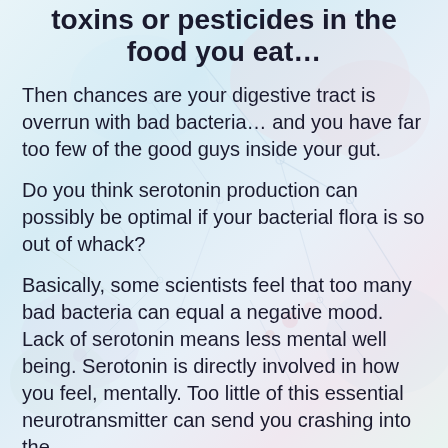toxins or pesticides in the food you eat…
Then chances are your digestive tract is overrun with bad bacteria… and you have far too few of the good guys inside your gut.
Do you think serotonin production can possibly be optimal if your bacterial flora is so out of whack?
Basically, some scientists feel that too many bad bacteria can equal a negative mood. Lack of serotonin means less mental well being. Serotonin is directly involved in how you feel, mentally. Too little of this essential neurotransmitter can send you crashing into the